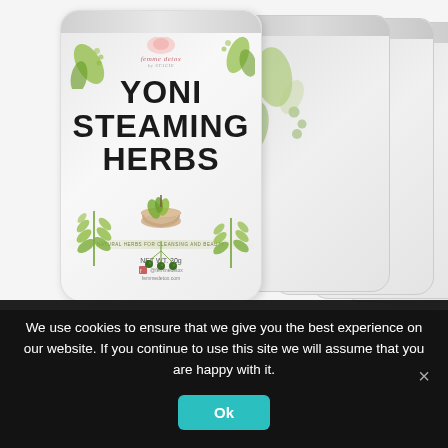[Figure (photo): Multiple pouches of 'Femme Detox Yoni Steaming Herbs' product. The front pouch shows the brand name, product name in large bold text, a mortar and pestle illustration with herbs, NET WT 30g, and decorative botanical illustrations. Several identical pouches are fanned out behind the front pouch. Background is white/light gray.]
We use cookies to ensure that we give you the best experience on our website. If you continue to use this site we will assume that you are happy with it.